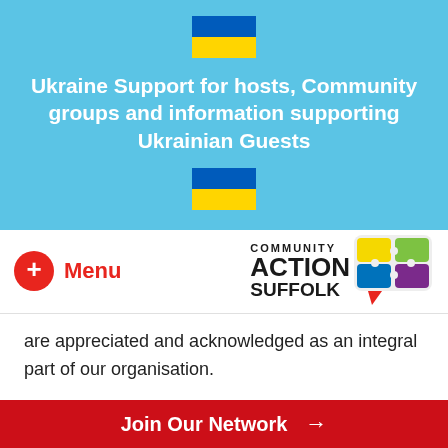Ukraine Support for hosts, Community groups and information supporting Ukrainian Guests
[Figure (logo): Community Action Suffolk logo with colourful puzzle pieces speech bubble]
are appreciated and acknowledged as an integral part of our organisation.
Find out more about Suffolk's Police Support Volunteers.
Join Our Network →